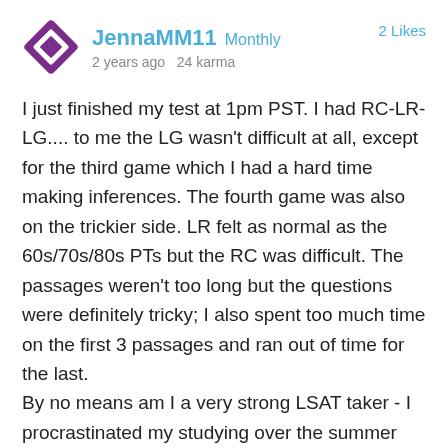JennaMM11 Monthly  2 years ago  24 karma  2 Likes
I just finished my test at 1pm PST. I had RC-LR-LG.... to me the LG wasn't difficult at all, except for the third game which I had a hard time making inferences. The fourth game was also on the trickier side. LR felt as normal as the 60s/70s/80s PTs but the RC was difficult. The passages weren't too long but the questions were definitely tricky; I also spent too much time on the first 3 passages and ran out of time for the last.
By no means am I a very strong LSAT taker - I procrastinated my studying over the summer and had to do an intense 2 months of studying...